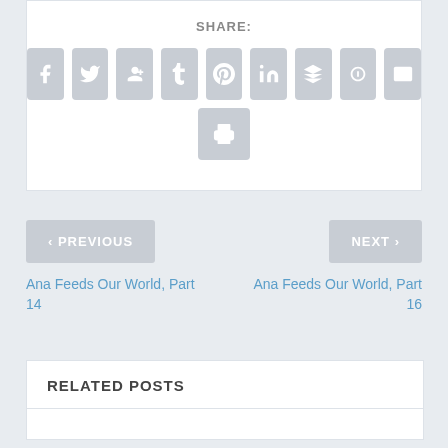SHARE:
[Figure (infographic): Social share icons row: Facebook, Twitter, Google+, Tumblr, Pinterest, LinkedIn, Buffer, StumbleUpon, Email, and a Print icon below]
< PREVIOUS
NEXT >
Ana Feeds Our World, Part 14
Ana Feeds Our World, Part 16
RELATED POSTS